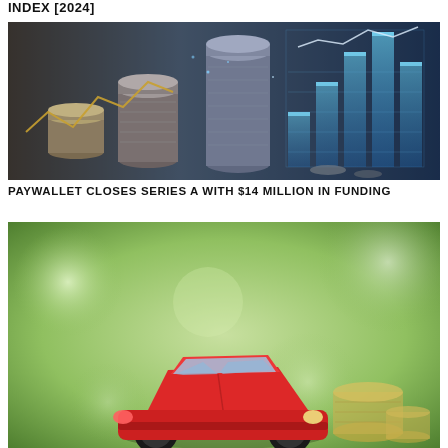Index [2024]
[Figure (photo): Stacks of coins with holographic financial bar charts and line graphs overlaid, glowing blue digital financial graphics, investment/finance themed image]
PAYWALLET CLOSES SERIES A WITH $14 MILLION IN FUNDING
[Figure (photo): A red toy car sitting on stacks of coins with a blurred green background, representing auto finance or car loans]